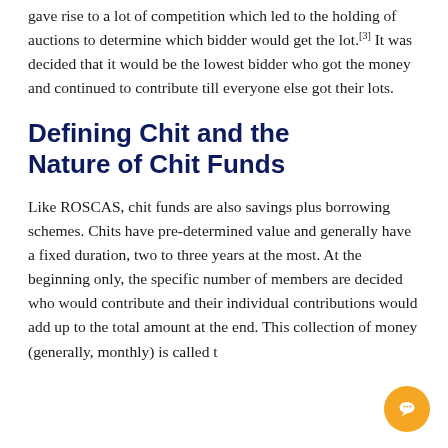gave rise to a lot of competition which led to the holding of auctions to determine which bidder would get the lot.[3] It was decided that it would be the lowest bidder who got the money and continued to contribute till everyone else got their lots.
Defining Chit and the Nature of Chit Funds
Like ROSCAS, chit funds are also savings plus borrowing schemes. Chits have pre-determined value and generally have a fixed duration, two to three years at the most. At the beginning only, the specific number of members are decided who would contribute and their individual contributions would add up to the total amount at the end. This collection of money (generally, monthly) is called t...